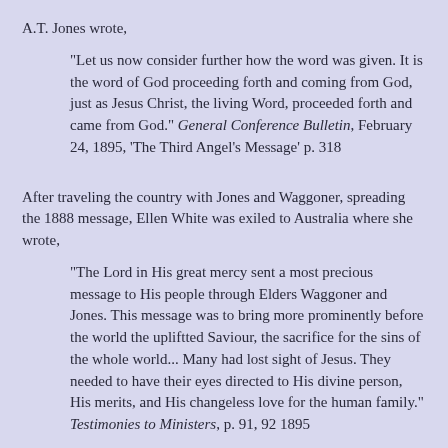A.T. Jones wrote,
“Let us now consider further how the word was given. It is the word of God proceeding forth and coming from God, just as Jesus Christ, the living Word, proceeded forth and came from God.” General Conference Bulletin, February 24, 1895, ‘The Third Angel’s Message’ p. 318
After traveling the country with Jones and Waggoner, spreading the 1888 message, Ellen White was exiled to Australia where she wrote,
“The Lord in His great mercy sent a most precious message to His people through Elders Waggoner and Jones. This message was to bring more prominently before the world the upliftted Saviour, the sacrifice for the sins of the whole world... Many had lost sight of Jesus. They needed to have their eyes directed to His divine person, His merits, and His changeless love for the human family.” Testimonies to Ministers, p. 91, 92 1895